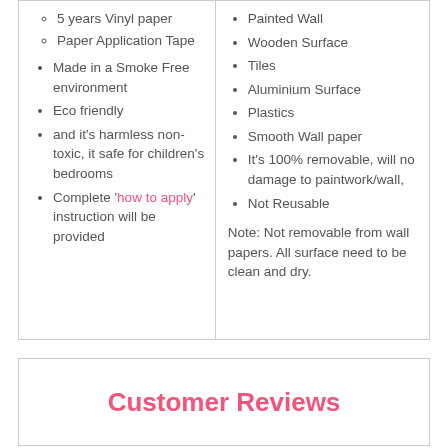5 years Vinyl paper
Paper Application Tape
Made in a Smoke Free environment
Eco friendly
and it's harmless non-toxic, it safe for children's bedrooms
Complete 'how to apply' instruction will be provided
Painted Wall
Wooden Surface
Tiles
Aluminium Surface
Plastics
Smooth Wall paper
It's 100% removable, will no damage to paintwork/wall,
Not Reusable
Note: Not removable from wall papers. All surface need to be clean and dry.
Customer Reviews